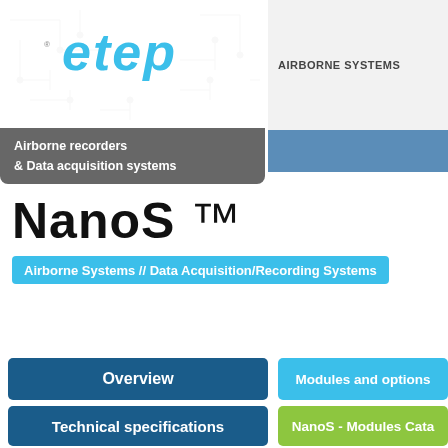[Figure (logo): etep company logo in blue italic text with circuit board pattern background and registered trademark symbol]
AIRBORNE SYSTEMS
Airborne recorders & Data acquisition systems
NanoS ™
Airborne Systems // Data Acquisition/Recording Systems
Overview
Modules and options
Technical specifications
NanoS - Modules Cata